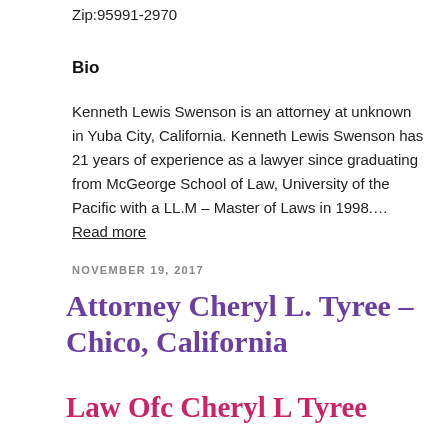Zip:95991-2970
Bio
Kenneth Lewis Swenson is an attorney at unknown in Yuba City, California. Kenneth Lewis Swenson has 21 years of experience as a lawyer since graduating from McGeorge School of Law, University of the Pacific with a LL.M – Master of Laws in 1998.… Read more
NOVEMBER 19, 2017
Attorney Cheryl L. Tyree – Chico, California
Law Ofc Cheryl L Tyree